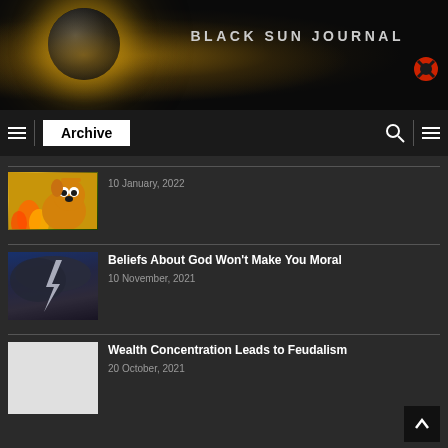[Figure (illustration): Black Sun Journal website header banner with dark planet silhouette, solar corona glow, and site title text]
BLACK SUN JOURNAL
Archive
[Figure (illustration): Thumbnail image of 'This is Fine' dog meme]
10 January, 2022
[Figure (illustration): Thumbnail image of lightning storm]
Beliefs About God Won't Make You Moral
10 November, 2021
[Figure (illustration): Blank white thumbnail placeholder]
Wealth Concentration Leads to Feudalism
20 October, 2021